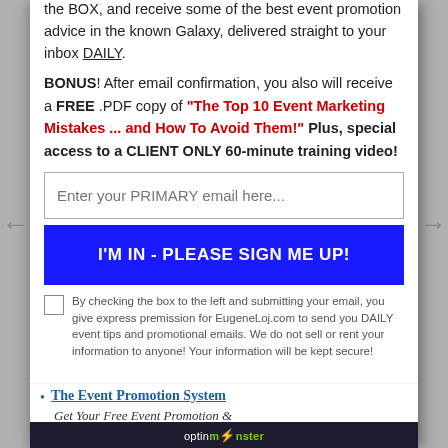the BOX, and receive some of the best event promotion advice in the known Galaxy, delivered straight to your inbox DAILY.
BONUS! After email confirmation, you also will receive a FREE .PDF copy of "The Top 10 Event Marketing Mistakes ... and How To Avoid Them!" Plus, special access to a CLIENT ONLY 60-minute training video!
Enter your PRIMARY email here...
I'M IN - PLEASE SIGN ME UP!
By checking the box to the left and submitting your email, you give express premission for EugeneLoj.com to send you DAILY event tips and promotional emails. We do not sell or rent your information to anyone! Your information will be kept secure!
The Event Promotion System
Get Your Free Event Promotion &
[Figure (logo): OptinMonster logo in footer bar]